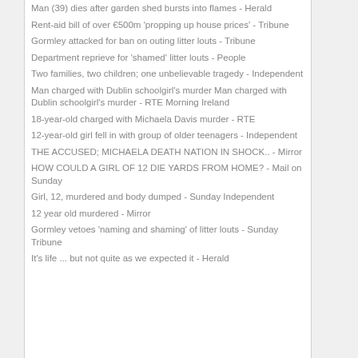Man (39) dies after garden shed bursts into flames - Herald
Rent-aid bill of over €500m 'propping up house prices' - Tribune
Gormley attacked for ban on outing litter louts - Tribune
Department reprieve for 'shamed' litter louts - People
Two families, two children; one unbelievable tragedy - Independent
Man charged with Dublin schoolgirl's murder Man charged with Dublin schoolgirl's murder - RTE Morning Ireland
18-year-old charged with Michaela Davis murder - RTE
12-year-old girl fell in with group of older teenagers - Independent
THE ACCUSED; MICHAELA DEATH NATION IN SHOCK.. - Mirror
HOW COULD A GIRL OF 12 DIE YARDS FROM HOME? - Mail on Sunday
Girl, 12, murdered and body dumped - Sunday Independent
12 year old murdered - Mirror
Gormley vetoes 'naming and shaming' of litter louts - Sunday Tribune
It's life ... but not quite as we expected it - Herald